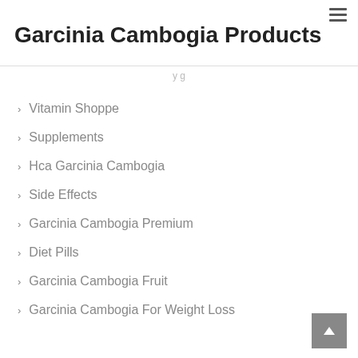Garcinia Cambogia Products
Vitamin Shoppe
Supplements
Hca Garcinia Cambogia
Side Effects
Garcinia Cambogia Premium
Diet Pills
Garcinia Cambogia Fruit
Garcinia Cambogia For Weight Loss